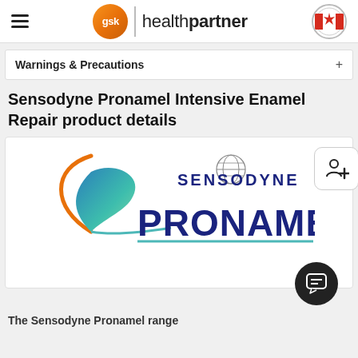gsk | healthpartner
Warnings & Precautions
Sensodyne Pronamel Intensive Enamel Repair product details
[Figure (logo): Sensodyne Pronamel logo with teal/orange swoosh graphic and SENSODYNE PRONAMEL text in dark blue]
The Sensodyne Pronamel range